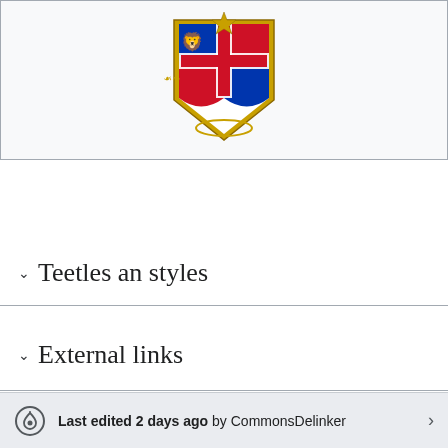[Figure (illustration): Coat of arms of the Kingdom of Italy — colorful heraldic shield with golden lions, red and blue quarters with white cross, surrounded by golden details, displayed on light gray background within a bordered box]
Teetles an styles
External links
Last edited 2 days ago by CommonsDelinker